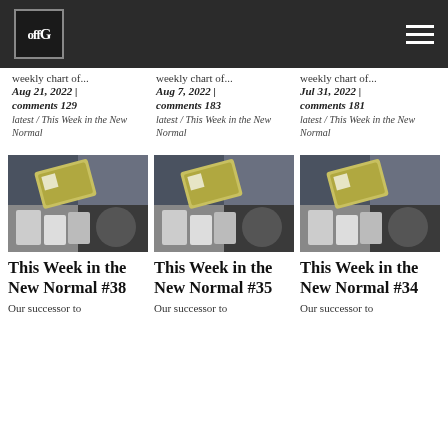offG
weekly chart of...
Aug 21, 2022 |
comments 129
latest / This Week in the New Normal
weekly chart of...
Aug 7, 2022 |
comments 183
latest / This Week in the New Normal
weekly chart of...
Jul 31, 2022 |
comments 181
latest / This Week in the New Normal
[Figure (photo): Collage image showing vaccine vials, QR code, and other pandemic-related imagery for This Week in the New Normal #38]
This Week in the New Normal #38
Our successor to
[Figure (photo): Collage image showing vaccine vials, QR code, and other pandemic-related imagery for This Week in the New Normal #35]
This Week in the New Normal #35
Our successor to
[Figure (photo): Collage image showing vaccine vials, QR code, and other pandemic-related imagery for This Week in the New Normal #34]
This Week in the New Normal #34
Our successor to